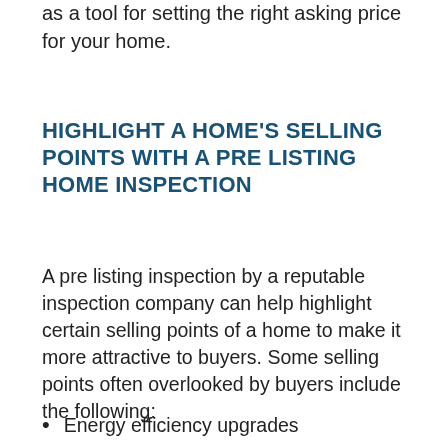as a tool for setting the right asking price for your home.
HIGHLIGHT A HOME'S SELLING POINTS WITH A PRE LISTING HOME INSPECTION
A pre listing inspection by a reputable inspection company can help highlight certain selling points of a home to make it more attractive to buyers. Some selling points often overlooked by buyers include the following:
Energy efficiency upgrades